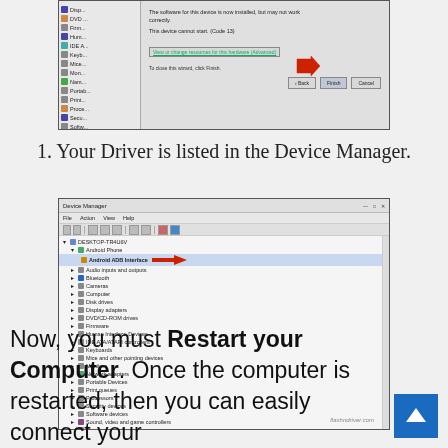[Figure (screenshot): Screenshot of a Windows hardware wizard dialog showing device driver installation with a red arrow pointing to the Finish button]
1. Your Driver is listed in the Device Manager.
[Figure (screenshot): Screenshot of Windows Device Manager showing Android ADB Interface listed under Android Phone, with a red arrow pointing to it. Watermark: flashndriver.com]
Now, you must Restart your Computer. Once the computer is restarted, then you can easily connect your